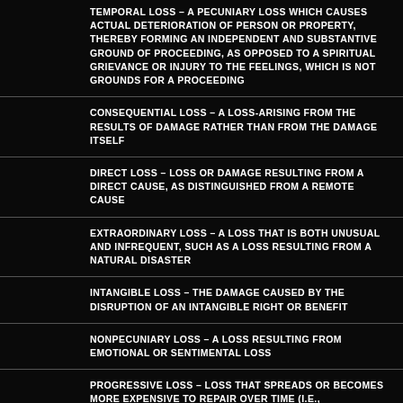TEMPORAL LOSS – A PECUNIARY LOSS WHICH CAUSES ACTUAL DETERIORATION OF PERSON OR PROPERTY, THEREBY FORMING AN INDEPENDENT AND SUBSTANTIVE GROUND OF PROCEEDING, AS OPPOSED TO A SPIRITUAL GRIEVANCE OR INJURY TO THE FEELINGS, WHICH IS NOT GROUNDS FOR A PROCEEDING
CONSEQUENTIAL LOSS – A LOSS-ARISING FROM THE RESULTS OF DAMAGE RATHER THAN FROM THE DAMAGE ITSELF
DIRECT LOSS – LOSS OR DAMAGE RESULTING FROM A DIRECT CAUSE, AS DISTINGUISHED FROM A REMOTE CAUSE
EXTRAORDINARY LOSS – A LOSS THAT IS BOTH UNUSUAL AND INFREQUENT, SUCH AS A LOSS RESULTING FROM A NATURAL DISASTER
INTANGIBLE LOSS – THE DAMAGE CAUSED BY THE DISRUPTION OF AN INTANGIBLE RIGHT OR BENEFIT
NONPECUNIARY LOSS – A LOSS RESULTING FROM EMOTIONAL OR SENTIMENTAL LOSS
PROGRESSIVE LOSS – LOSS THAT SPREADS OR BECOMES MORE EXPENSIVE TO REPAIR OVER TIME (I.E., ASBESTOSIS)